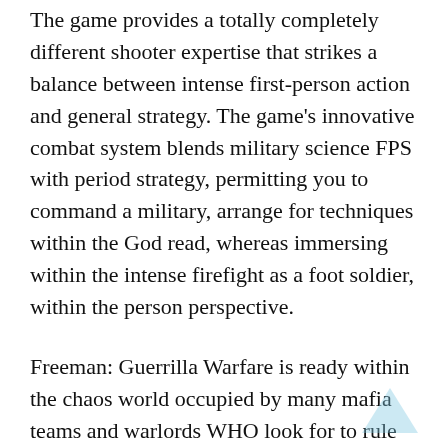The game provides a totally completely different shooter expertise that strikes a balance between intense first-person action and general strategy. The game's innovative combat system blends military science FPS with period strategy, permitting you to command a military, arrange for techniques within the God read, whereas immersing within the intense firefight as a foot soldier, within the person perspective.
Freeman: Guerrilla Warfare is ready within the chaos world occupied by many mafia teams and warlords WHO look for to rule the globe. the sport permits you to begin your career as a faction leader, you've got minimum whereas your main purpose is to create cash. In such style of scenario, you may build a military, wage war against your opponents and eliminate your enemies and rival factions with strategy, by choosing your finest ability the…